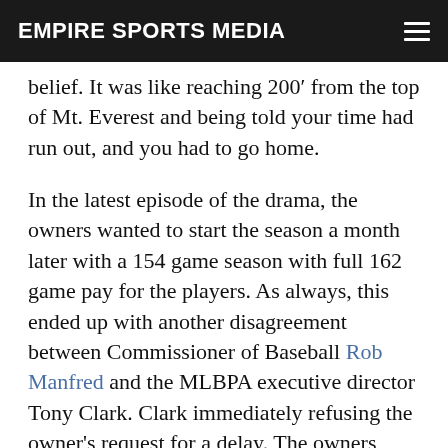EMPIRE SPORTS MEDIA
belief. It was like reaching 200′ from the top of Mt. Everest and being told your time had run out, and you had to go home.
In the latest episode of the drama, the owners wanted to start the season a month later with a 154 game season with full 162 game pay for the players. As always, this ended up with another disagreement between Commissioner of Baseball Rob Manfred and the MLBPA executive director Tony Clark. Clark immediately refusing the owner's request for a delay. The owners sighted that it would give more time for more arms to be vaccinated and create a safer environment for players, staff, and fans.